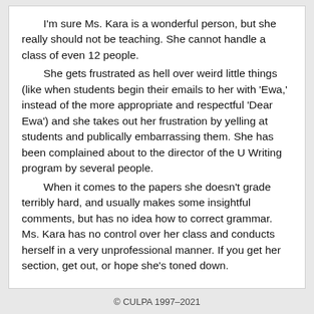I'm sure Ms. Kara is a wonderful person, but she really should not be teaching. She cannot handle a class of even 12 people. She gets frustrated as hell over weird little things (like when students begin their emails to her with 'Ewa,' instead of the more appropriate and respectful 'Dear Ewa') and she takes out her frustration by yelling at students and publically embarrassing them. She has been complained about to the director of the U Writing program by several people. When it comes to the papers she doesn't grade terribly hard, and usually makes some insightful comments, but has no idea how to correct grammar. Ms. Kara has no control over her class and conducts herself in a very unprofessional manner. If you get her section, get out, or hope she's toned down.
© CULPA 1997–2021